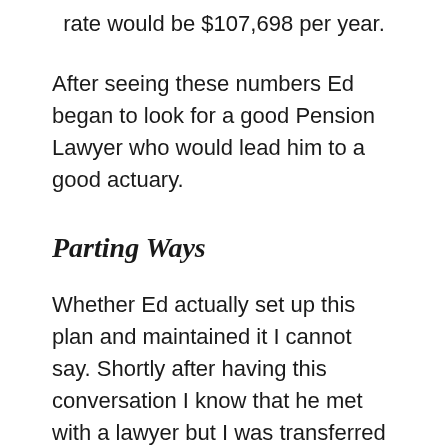rate would be $107,698 per year.
After seeing these numbers Ed began to look for a good Pension Lawyer who would lead him to a good actuary.
Parting Ways
Whether Ed actually set up this plan and maintained it I cannot say. Shortly after having this conversation I know that he met with a lawyer but I was transferred from the Baton Rouge Division to Jackson, Mississippi to work as a District Manager